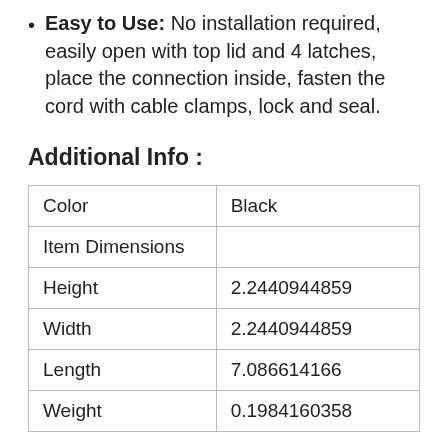Easy to Use: No installation required, easily open with top lid and 4 latches, place the connection inside, fasten the cord with cable clamps, lock and seal.
Additional Info :
| Color | Black |
| Item Dimensions |  |
| Height | 2.2440944859 |
| Width | 2.2440944859 |
| Length | 7.086614166 |
| Weight | 0.1984160358 |